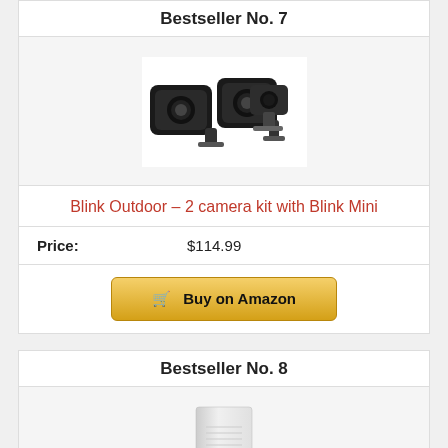Bestseller No. 7
[Figure (photo): Blink Outdoor 2 camera kit with Blink Mini product photo showing two outdoor cameras and one indoor mini camera]
Blink Outdoor – 2 camera kit with Blink Mini
Price: $114.99
Buy on Amazon
Bestseller No. 8
[Figure (photo): Ring Chime Pro product photo showing a white wedge-shaped device]
Ring Chime Pro